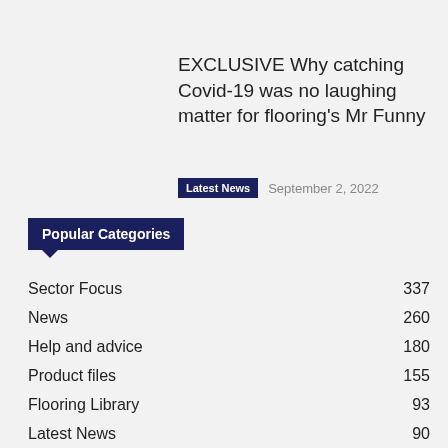EXCLUSIVE Why catching Covid-19 was no laughing matter for flooring's Mr Funny
Latest News   September 2, 2022
Popular Categories
Sector Focus  337
News  260
Help and advice  180
Product files  155
Flooring Library  93
Latest News  90
> F Ball <  85
Sustainability  75
Training  46